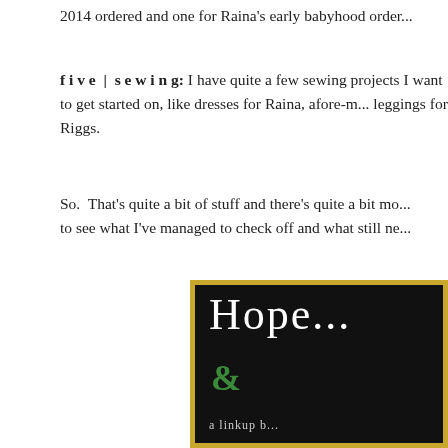2014 ordered and one for Raina's early babyhood order...
five | sewing: I have quite a few sewing projects I want to get started on, like dresses for Raina, afore-m... leggings for Riggs.
So.  That's quite a bit of stuff and there's quite a bit mo... to see what I've managed to check off and what still ne...
[Figure (illustration): A black card with gold glitter border, showing cursive white text 'Hope...' and a green ampersand symbol below, with text 'a linkup b...' at the bottom.]